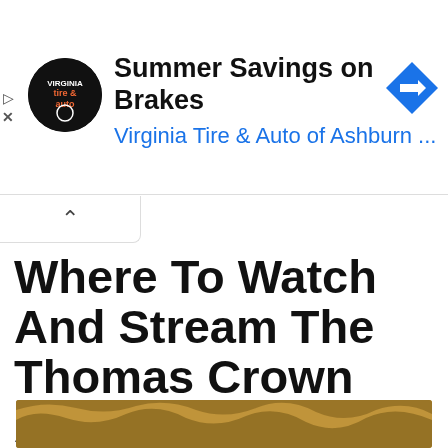[Figure (other): Advertisement banner for Virginia Tire & Auto of Ashburn showing logo, text 'Summer Savings on Brakes' and 'Virginia Tire & Auto of Ashburn ...' with a blue diamond arrow icon]
Where To Watch And Stream The Thomas Crown Affair Free Online?
August 18, 2022 by Jessa Martin
[Figure (photo): Photo showing top of a person's blonde hair against a golden/orange background]